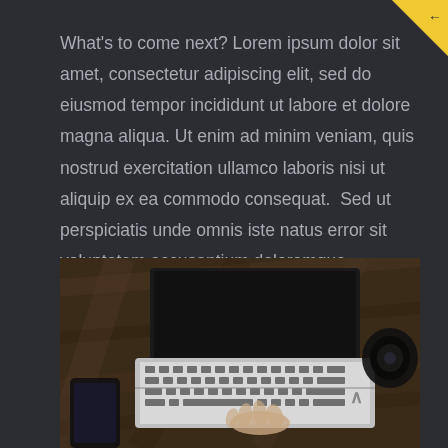What's to come next? Lorem ipsum dolor sit amet, consectetur adipiscing elit, sed do eiusmod tempor incididunt ut labore et dolore magna aliqua. Ut enim ad minim veniam, quis nostrud exercitation ullamco laboris nisi ut aliquip ex ea commodo consequat.  Sed ut perspiciatis unde omnis iste natus error sit voluptatem accusantium doloremque laudantium,
[Figure (photo): Top-down view of a person typing on a MacBook laptop on a wooden desk, with a smartphone and camera lens visible to the sides]